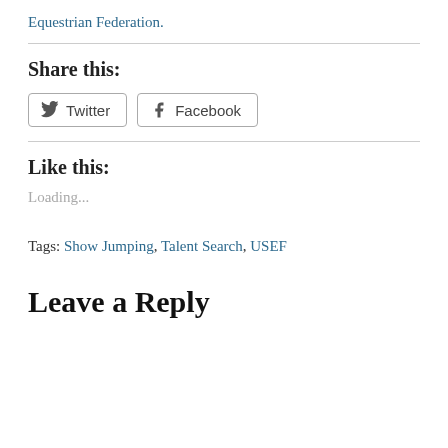Equestrian Federation.
Share this:
[Figure (other): Twitter and Facebook share buttons]
Like this:
Loading...
Tags: Show Jumping, Talent Search, USEF
Leave a Reply